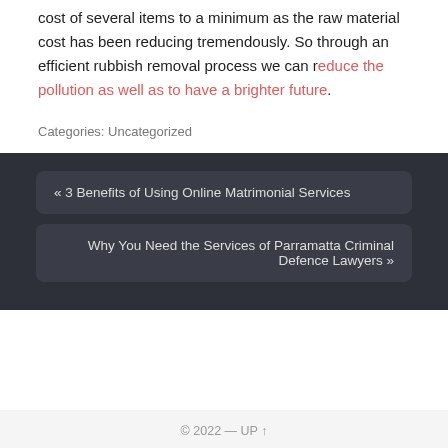cost of several items to a minimum as the raw material cost has been reducing tremendously. So through an efficient rubbish removal process we can reduce the pollution as well as to have a brighter future.
Categories: Uncategorized
« 3 Benefits of Using Online Matrimonial Services
Why You Need the Services of Parramatta Criminal Defence Lawyers »
© 2022 — UP ↑